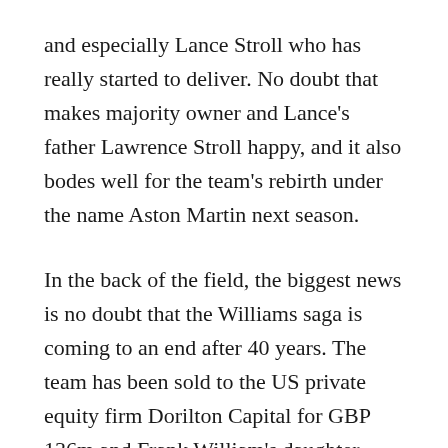and especially Lance Stroll who has really started to deliver. No doubt that makes majority owner and Lance's father Lawrence Stroll happy, and it also bodes well for the team's rebirth under the name Aston Martin next season.
In the back of the field, the biggest news is no doubt that the Williams saga is coming to an end after 40 years. The team has been sold to the US private equity firm Dorilton Capital for GBP 136m and Frank William's daughter Claire will step down as team principal after the Italian GP this weekend. It's unclear who will take over her role or what the new owners will bring, or even if they retain the Williams name. After 40 years the Williams era comes to an end, and we should